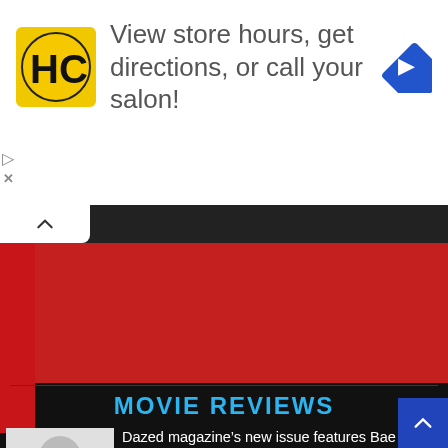[Figure (infographic): Advertisement banner: HC salon logo (black H and C on yellow background), text 'View store hours, get directions, or call your salon!', blue navigation diamond icon on right, play and close controls on left side]
[Figure (photo): Red colored banner/image area partially visible]
MOVIE REVIEWS
[Figure (photo): Photo of Bae Hyun Sung in pink hoodie against white background]
Dazed magazine’s new issue features Bae Hyun Sung!
August 20, 2022   •  22
[Figure (photo): Black and white photo of Jung Il Woo in black suit]
Arena Homme Plus’s latest issue features Jung Il Woo!
August 20, 2022   •  22